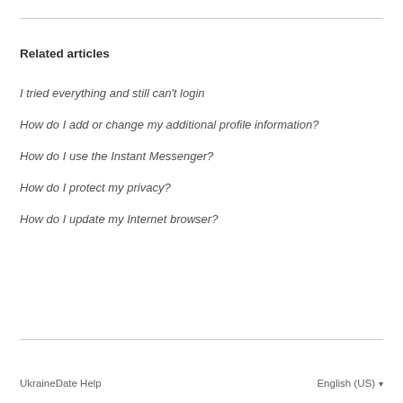Related articles
I tried everything and still can't login
How do I add or change my additional profile information?
How do I use the Instant Messenger?
How do I protect my privacy?
How do I update my Internet browser?
UkraineDate Help    English (US)